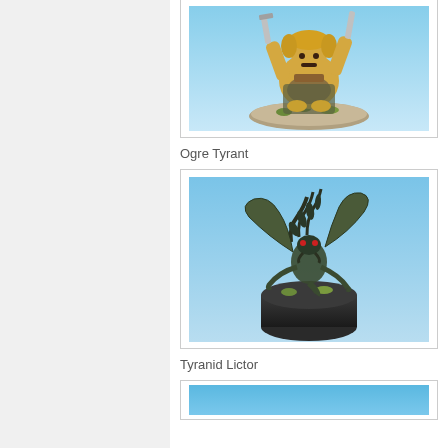[Figure (photo): Painted miniature figure of an Ogre Tyrant - a large armored ogre warrior holding weapons aloft, mounted on a oval base with green and grey terrain effects, photographed against a blue gradient background.]
Ogre Tyrant
[Figure (photo): Painted miniature figure of a Tyranid Lictor - an alien creature with scythe-like limbs and spine-covered back, mounted on a black cylindrical base with green grass tufts, photographed against a blue gradient background.]
Tyranid Lictor
[Figure (photo): Partial view of a third miniature figure, only the top edge visible, showing a blue gradient background.]